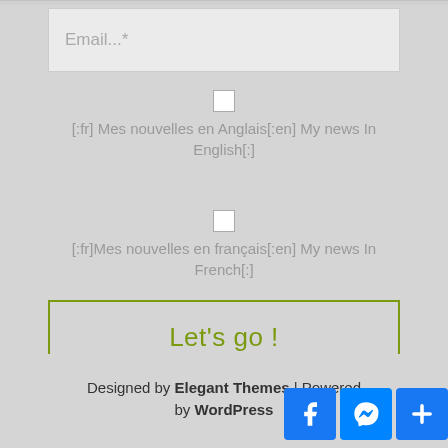Email...*
[:fr] Mes nouvelles en Anglais[:en] My news In English[:]
[:fr]Mes nouvelles en français[:en] My news In French[:]
Let's go !
Designed by Elegant Themes | Powered by WordPress